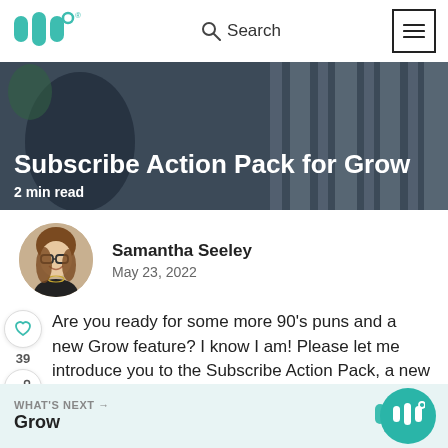[Figure (logo): MindWire or similar brand logo in teal color with three bars and a degree symbol]
Search
[Figure (screenshot): Hero banner image showing hands, overlaid with title text 'Subscribe Action Pack for Grow' and '2 min read']
Subscribe Action Pack for Grow
2 min read
[Figure (photo): Author profile photo of Samantha Seeley, a woman with glasses and brown hair]
Samantha Seeley
May 23, 2022
Are you ready for some more 90’s puns and a new Grow feature? I know I am! Please let me introduce you to the Subscribe Action Pack, a new way …
39
WHAT’S NEXT →  Grow